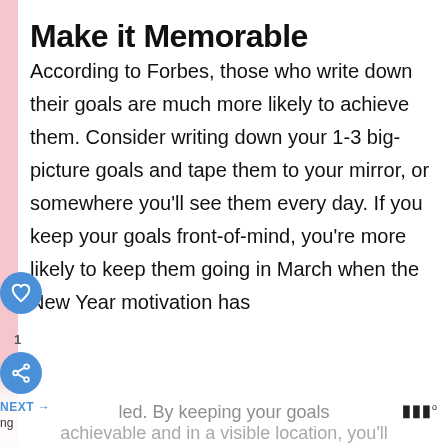Make it Memorable
According to Forbes, those who write down their goals are much more likely to achieve them. Consider writing down your 1-3 big-picture goals and tape them to your mirror, or somewhere you'll see them every day. If you keep your goals front-of-mind, you're more likely to keep them going in March when the New Year motivation has faded. By keeping your goals achievable and in a visible location, you'll